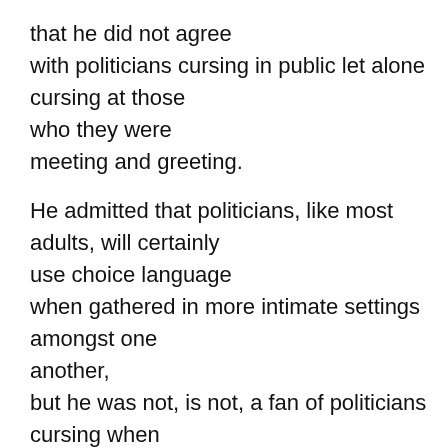that he did not agree with politicians cursing in public let alone cursing at those who they were meeting and greeting.
He admitted that politicians, like most adults, will certainly use choice language when gathered in more intimate settings amongst one another, but he was not, is not, a fan of politicians cursing when they are out and about publically “politicking.”
Is this devolving causal thoughtlessness of our society a tribute to who we are? Might it be a key sign that we are moving backward rather than forward?